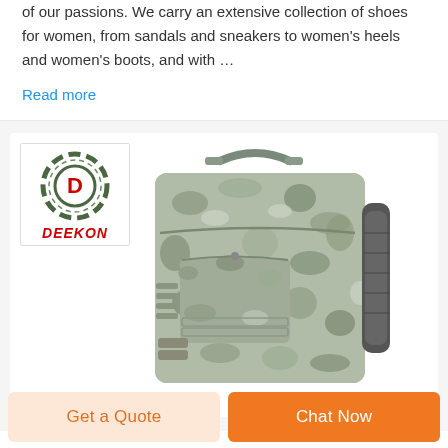of our passions. We carry an extensive collection of shoes for women, from sandals and sneakers to women's heels and women's boots, and with …
Read more
[Figure (photo): Deekon brand logo (circular target with D) and red DEEKON text, alongside a digital camouflage military tactical backpack with molle webbing, carry handle, zippers, and side shoulder strap]
Get a Quote
Chat Now